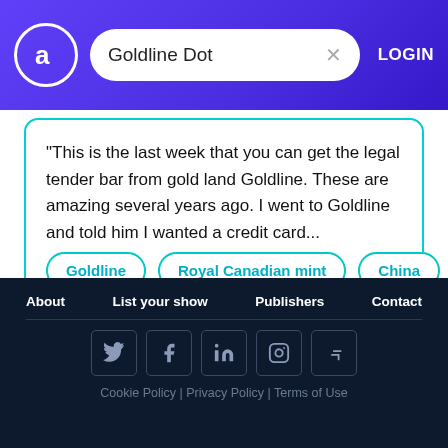Goldline Dot | LOGIN
"This is the last week that you can get the legal tender bar from gold land Goldline. These are amazing several years ago. I went to Goldline and told him I wanted a credit card...
Goldline
Royal Canadian mint
China
About  List your show  Publishers  Contact  Cookie Policy | Privacy Policy | Terms of Use